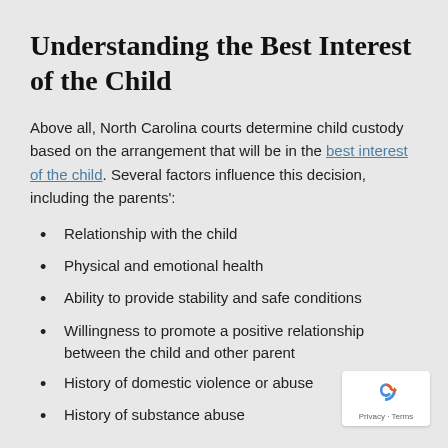Understanding the Best Interest of the Child
Above all, North Carolina courts determine child custody based on the arrangement that will be in the best interest of the child. Several factors influence this decision, including the parents':
Relationship with the child
Physical and emotional health
Ability to provide stability and safe conditions
Willingness to promote a positive relationship between the child and other parent
History of domestic violence or abuse
History of substance abuse